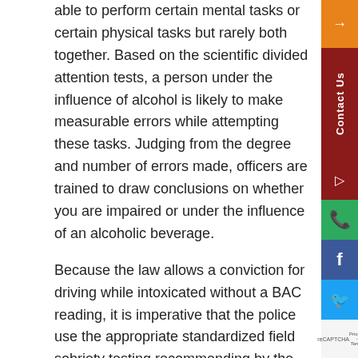able to perform certain mental tasks or certain physical tasks but rarely both together. Based on the scientific divided attention tests, a person under the influence of alcohol is likely to make measurable errors while attempting these tasks. Judging from the degree and number of errors made, officers are trained to draw conclusions on whether you are impaired or under the influence of an alcoholic beverage.
Because the law allows a conviction for driving while intoxicated without a BAC reading, it is imperative that the police use the appropriate standardized field sobriety testing recommended by the NHTSA. Otherwise, the state's use of "alternative" tests is like comparing apples to oranges. If the law enforcement officer did not use the standardized tests, the state's case can be